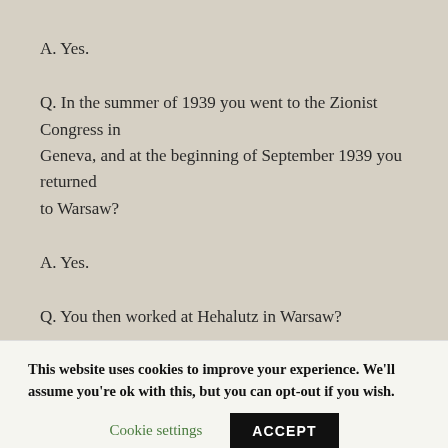A. Yes.
Q. In the summer of 1939 you went to the Zionist Congress in Geneva, and at the beginning of September 1939 you returned to Warsaw?
A. Yes.
Q. You then worked at Hehalutz in Warsaw?
This website uses cookies to improve your experience. We'll assume you're ok with this, but you can opt-out if you wish.
Cookie settings
ACCEPT